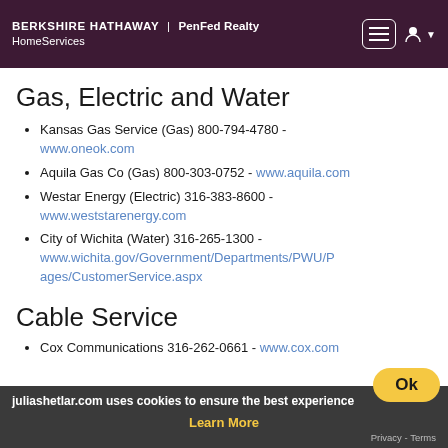BERKSHIRE HATHAWAY | PenFed Realty HomeServices
Gas, Electric and Water
Kansas Gas Service (Gas) 800-794-4780 - www.oneok.com
Aquila Gas Co (Gas) 800-303-0752 - www.aquila.com
Westar Energy (Electric) 316-383-8600 - www.weststarenergy.com
City of Wichita (Water) 316-265-1300 - www.wichita.gov/Government/Departments/PWU/Pages/CustomerService.aspx
Cable Service
Cox Communications 316-262-0661 - www.cox.com
juliashetlar.com uses cookies to ensure the best experience
Learn More